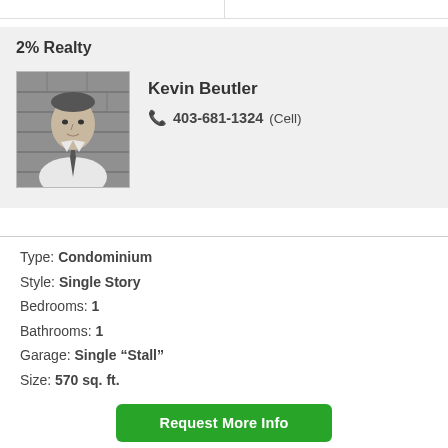2% Realty
[Figure (photo): Black and white headshot photo of Kevin Beutler, a man in a white shirt and tie, in front of a brick wall.]
Kevin Beutler
403-681-1324 (Cell)
Type: Condominium
Style: Single Story
Bedrooms: 1
Bathrooms: 1
Garage: Single "Stall"
Size: 570 sq. ft.
Request More Info